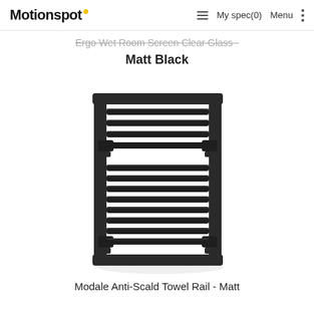Motionspot · My spec(0) Menu
Ergo Wet Room Screen Clear Glass - Matt Black
Matt Black
[Figure (photo): A matt black Modale Anti-Scald Towel Rail radiator with multiple horizontal bars, shown on a white background.]
Modale Anti-Scald Towel Rail - Matt